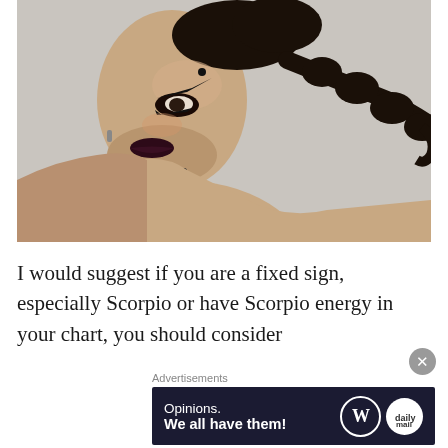[Figure (photo): Side profile of a woman with dramatic dark makeup including dark lip color, bold eye makeup with winged liner, a bindi on her forehead, a black choker necklace, and a long black bubble braid hairstyle trailing to the right. Background is light grey.]
I would suggest if you are a fixed sign, especially Scorpio or have Scorpio energy in your chart, you should consider
Advertisements
[Figure (other): Advertisement banner with dark navy background. Text reads 'Opinions. We all have them!' with WordPress logo (W in circle) and another circular icon on the right.]